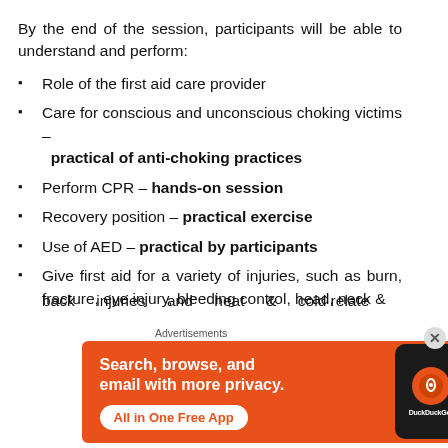By the end of the session, participants will be able to understand and perform:
Role of the first aid care provider
Care for conscious and unconscious choking victims – practical of anti-choking practices
Perform CPR – hands-on session
Recovery position – practical exercise
Use of AED – practical by participants
Give first aid for a variety of injuries, such as burn, fracture, eye injury, bleeding control, head, neck & back injuries and heat & cold relate...
[Figure (screenshot): DuckDuckGo advertisement banner with orange background showing 'Search, browse, and email with more privacy. All in One Free App' with a phone mockup and DuckDuckGo logo]